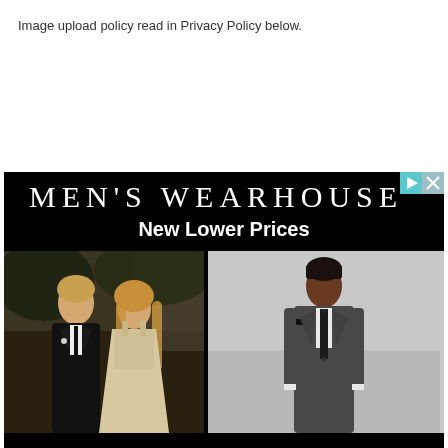Image upload policy read in Privacy Policy below.
[Figure (photo): Men's Wearhouse advertisement banner with black background showing brand name 'MEN'S WEARHOUSE®' and tagline 'New Lower Prices', with two photos below: left photo shows a couple (man in black tuxedo and woman in white dress at a wedding), right photo shows a man modeling a charcoal gray suit with black tie on a light gray background.]